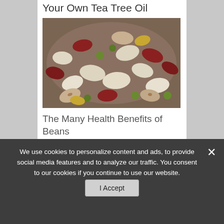Your Own Tea Tree Oil
[Figure (photo): A bowl of assorted mixed beans and legumes including kidney beans, white beans, green lentils, and spotted beans photographed from above.]
The Many Health Benefits of Beans
Do You Live In a
We use cookies to personalize content and ads, to provide social media features and to analyze our traffic. You consent to our cookies if you continue to use our website.
I Accept